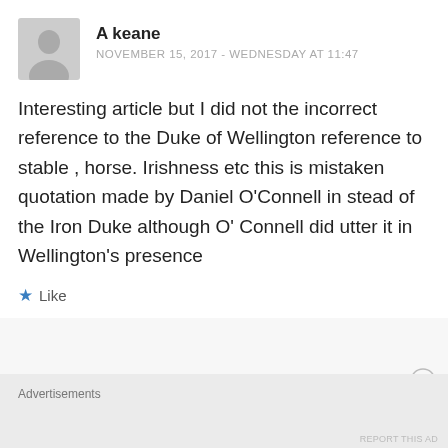[Figure (illustration): Grey avatar placeholder icon showing a silhouette of a person]
A keane
NOVEMBER 15, 2017 - WEDNESDAY AT 11:47
Interesting article but I did not the incorrect reference to the Duke of Wellington reference to stable , horse. Irishness etc this is mistaken quotation made by Daniel O’Connell in stead of the Iron Duke although O’ Connell did utter it in Wellington’s presence
Like
Advertisements